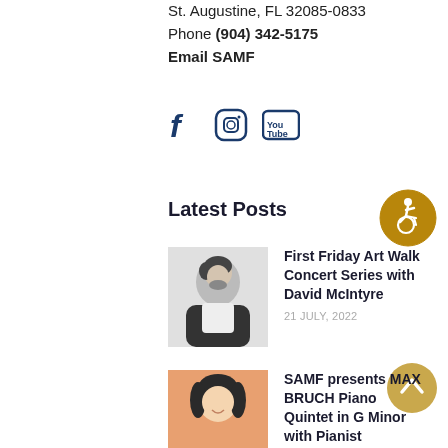St. Augustine, FL 32085-0833
Phone (904) 342-5175
Email SAMF
[Figure (infographic): Social media icons: Facebook, Instagram, YouTube]
Latest Posts
[Figure (illustration): Wheelchair accessibility icon in gold circle]
[Figure (photo): Portrait photo of David McIntyre, a young man with dark hair and beard]
First Friday Art Walk Concert Series with David McIntyre
21 JULY, 2022
[Figure (illustration): Gold circle with up arrow (scroll to top button)]
[Figure (photo): Portrait photo of a woman with dark hair, smiling]
SAMF presents MAX BRUCH Piano Quintet in G Minor with Pianist